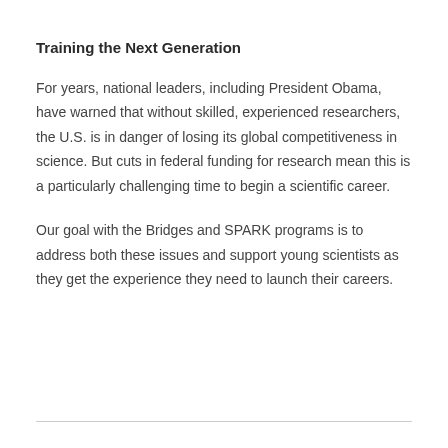Training the Next Generation
For years, national leaders, including President Obama, have warned that without skilled, experienced researchers, the U.S. is in danger of losing its global competitiveness in science. But cuts in federal funding for research mean this is a particularly challenging time to begin a scientific career.
Our goal with the Bridges and SPARK programs is to address both these issues and support young scientists as they get the experience they need to launch their careers.